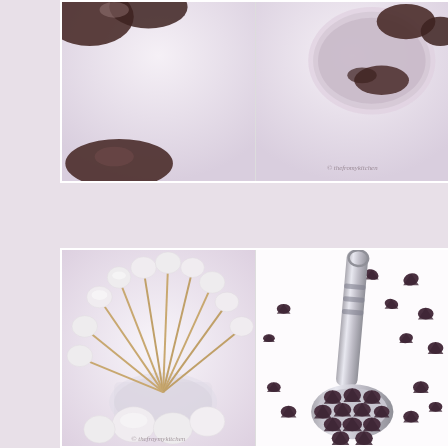[Figure (photo): Two food photography panels at top: left panel shows chocolate-covered items on a light purple/white background, right panel shows a bowl or tin with chocolate items and a watermark copyright text]
[Figure (photo): Two food photography panels at bottom: left panel shows marshmallows on toothpicks/skewers arranged in a glass on white/lavender background with watermark, right panel shows a silver spoon filled with chocolate chips surrounded by scattered chocolate chips on white background]